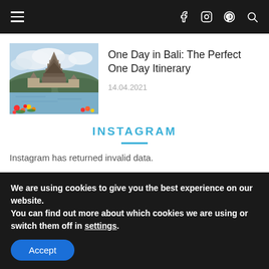Navigation bar with hamburger menu and social icons (Facebook, Instagram, Pinterest, Search)
[Figure (photo): Photo of Pura Ulun Danu Bratan temple in Bali with colorful flowers in foreground and cloudy sky]
One Day in Bali: The Perfect One Day Itinerary
14.04.2021
INSTAGRAM
Instagram has returned invalid data.
We are using cookies to give you the best experience on our website.
You can find out more about which cookies we are using or switch them off in settings.